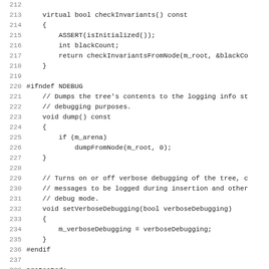Source code listing lines 212-244, showing C++ class methods including checkInvariants(), dump(), setVerboseDebugging() inside #ifndef NDEBUG block, and protected section with enum Color.